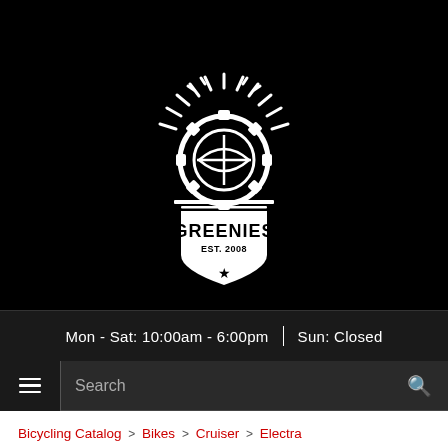[Figure (logo): Greenies bicycle shop logo — white gear/sprocket with sunburst rays on top, shield shape below with text GREENIES EST. 2008 and a star, all white on black background]
Mon - Sat: 10:00am - 6:00pm | Sun: Closed
Search
Bicycling Catalog > Bikes > Cruiser > Electra
Electra Townie Path 9D Step-Thru